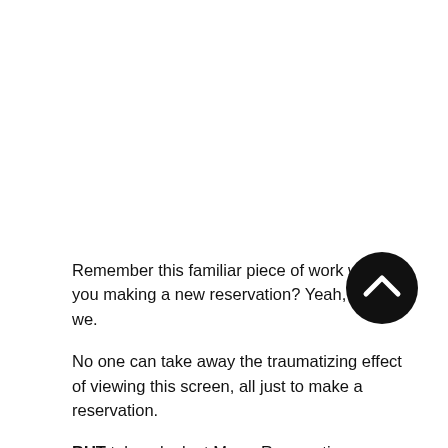Remember this familiar piece of work when you making a new reservation? Yeah, so do we.
[Figure (illustration): Black circular button with a white upward-pointing chevron arrow, used as a scroll-to-top or navigation button.]
No one can take away the traumatizing effect of viewing this screen, all just to make a reservation.
BUT take a look at Mews Reservations screen: